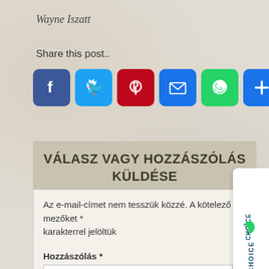Wayne Iszatt
Share this post..
[Figure (infographic): Row of social share icon buttons: Facebook (blue), Twitter (blue), Pinterest (red), Email (blue envelope), WhatsApp (green), More/Plus (blue)]
VÁLASZ VAGY HOZZÁSZÓLÁS KÜLDÉSE
Az e-mail-címet nem tesszük közzé. A kötelező mezőket * karakterrel jelöltük
Hozzászólás *
[Figure (logo): EcoChoice logo with leaf icon and blue/green text, rotated vertically on right sidebar]